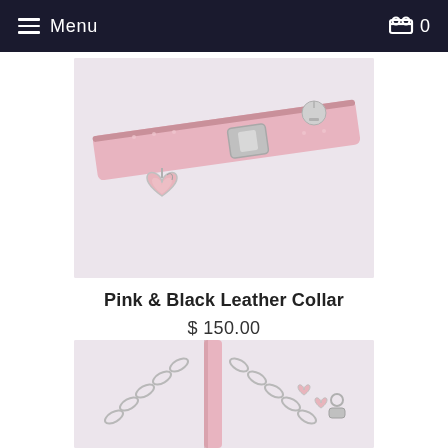Menu  0
[Figure (photo): Pink leather dog collar with silver buckle and pink heart charm pendant, displayed on light grey/white background]
Pink & Black Leather Collar
$ 150.00
[Figure (photo): Pink leather strap with silver chain leash and heart-shaped decorative links, partial view cropped at bottom of page]